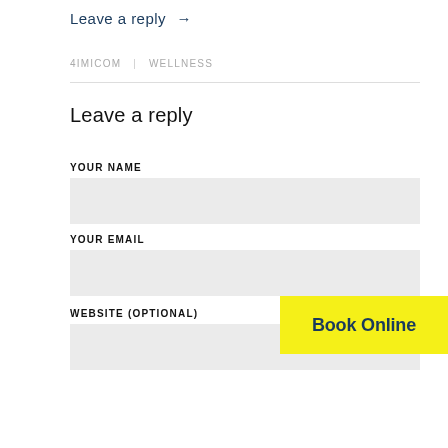Leave a reply →
4IMICOM  |  WELLNESS
Leave a reply
YOUR NAME
YOUR EMAIL
WEBSITE (optional)
[Figure (other): Yellow 'Book Online' button overlay]